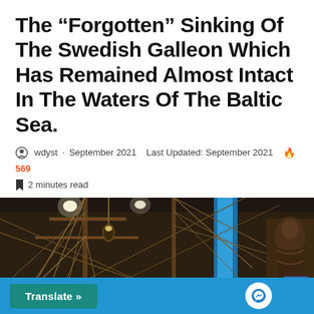The “Forgotten” Sinking Of The Swedish Galleon Which Has Remained Almost Intact In The Waters Of The Baltic Sea.
wdyst · September 2021   Last Updated: September 2021  🔥 569
2 minutes read
[Figure (photo): Interior of a museum showing the masts and rigging of an old wooden sailing ship (likely the Vasa), with museum lighting and decorative carvings visible on the right side.]
Translate »